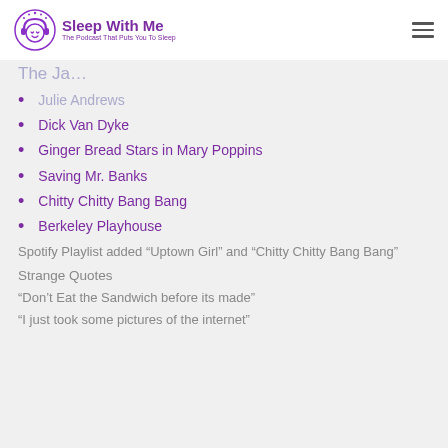Sleep With Me – The Podcast That Puts You To Sleep
The Jacobs (faded/partial)
Julie Andrews (faded)
Dick Van Dyke
Ginger Bread Stars in Mary Poppins
Saving Mr. Banks
Chitty Chitty Bang Bang
Berkeley Playhouse
Spotify Playlist added “Uptown Girl” and “Chitty Chitty Bang Bang”
Strange Quotes
“Don’t Eat the Sandwich before its made”
“I just took some pictures of the internet”